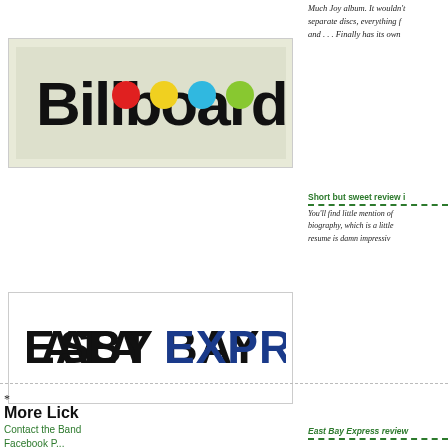Much Joy album. It wouldn't separate discs, everything f and . . . Finally has its own
[Figure (logo): Billboard magazine logo on light grey-green background with colorful dots above letters]
Short but sweet review i
You'll find little mention of biography, which is a little resume is damn impressiv
[Figure (logo): East Bay Express logo: black bold EAST BAY and blue bold EXPRESS text on white background]
East Bay Express review
"Taking the piss" ain't easy airlift someone to the fron ideal leader — in some wa
*
More Lick
Contact the Band
Facebook P...